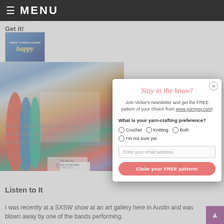≡ MENU
Get It
[Figure (photo): Photo collage of yarn crafting products including colorful yarn skeins, mitts/socks, and a book titled 'Happy' crochet, with a rainbow 'We Are All In This Together' banner]
that's as functional as it is fabulous... HAPPY HOOKER every written and witty... favorites are doormat, Angela Bent's lacey bolero... and Tricia Royal's corset belt. This book is a must-have for both... alike. Hop on over the Blue Boutique for the hook-up.
Listen to It
I was recently at a SXSW show at an art gallery here in Austin and was blown away by one of the bands performing. MARA HOLTNER...
Stay in the know!
Join Vickie's newsletter and get the FREE pattern of your choice from www.yarnyay.com!
What is your yarn-crafting preference?
Crochet
Knitting
Both
I'm not sure yet
Enter your email address
Claim your FREE pattern!